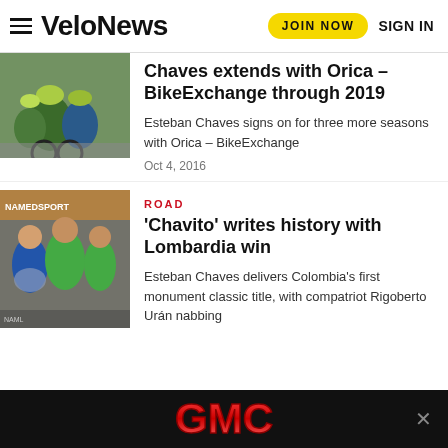VeloNews | JOIN NOW | SIGN IN
[Figure (photo): Cyclists racing in green and blue team kits, shot from behind during a road race]
Chaves extends with Orica – BikeExchange through 2019
Esteban Chaves signs on for three more seasons with Orica – BikeExchange
Oct 4, 2016
ROAD
[Figure (photo): Podium celebration photo with cyclists in Orica and Astana team kits holding a trophy]
'Chavito' writes history with Lombardia win
Esteban Chaves delivers Colombia's first monument classic title, with compatriot Rigoberto Urán nabbing
[Figure (logo): GMC logo advertisement banner in red on black background]